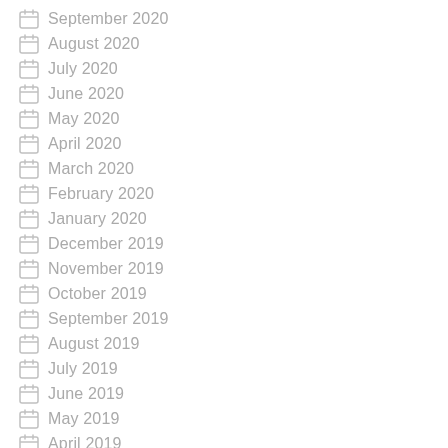September 2020
August 2020
July 2020
June 2020
May 2020
April 2020
March 2020
February 2020
January 2020
December 2019
November 2019
October 2019
September 2019
August 2019
July 2019
June 2019
May 2019
April 2019
March 2019
February 2019
January 2019